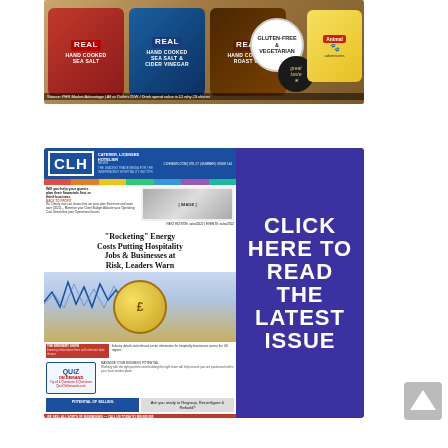[Figure (photo): Advertisement banner for Real Hand Cooked crisps (Sea Salt, Sea Salt & Cider Vinegar, Roast Ox) and Animal snacks. Shows crisp packets on a wooden background with gluten-free & vegetarian badge and Great Taste award.]
[Figure (photo): CLH News magazine advertisement with dark blue background. Left side shows a newspaper cover with headline 'Rocketing Energy Costs Putting Hospitality Jobs & Businesses at Risk, Leaders Warn'. Right side has white bold text 'CLICK HERE TO READ THE LATEST ISSUE'.]